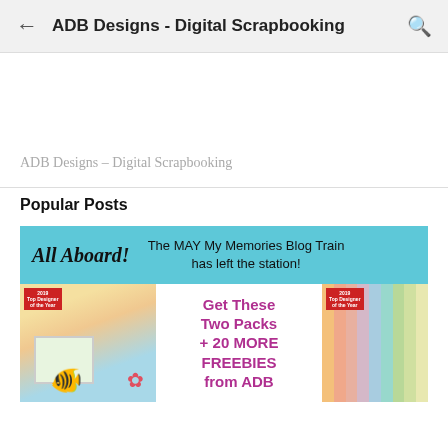ADB Designs - Digital Scrapbooking
ADB Designs – Digital Scrapbooking
Popular Posts
[Figure (screenshot): Blog post banner for 'All Aboard!' with teal background. Left side has italic bold text 'All Aboard!' and right side reads 'The MAY My Memories Blog Train has left the station!']
[Figure (screenshot): Three-image row: left shows a digital scrapbooking kit with cartoon fish and beach elements, center shows magenta text 'Get These Two Packs + 20 MORE FREEBIES from ADB', right shows color strip paper pack in pastel colors.]